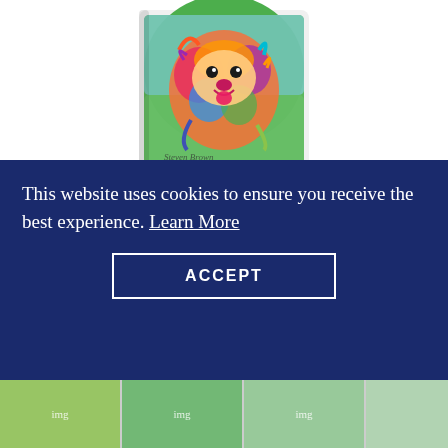[Figure (photo): Colorful painted dog image on a shortbread tin, shown partially at top of page]
SALE Molly McDug Shortbread Tin
$9.00 — $6.00
Eight flaky and delicious shortbread rounds from Dean's of Huntly - 7.1 oz.
[Figure (screenshot): Cookie consent overlay: 'This website uses cookies to ensure you receive the best experience. Learn More' with ACCEPT button]